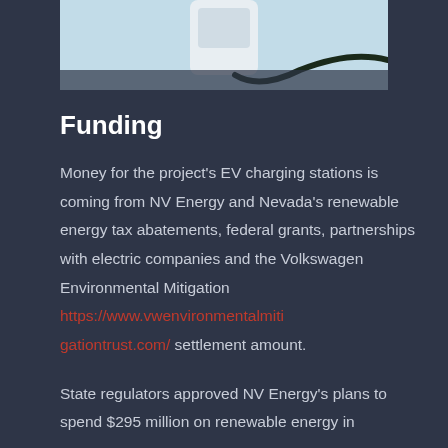[Figure (photo): Top portion of an EV charging station with a dark cable against a light blue background, partially cropped at top of page]
Funding
Money for the project's EV charging stations is coming from NV Energy and Nevada's renewable energy tax abatements, federal grants, partnerships with electric companies and the Volkswagen Environmental Mitigation https://www.vwenvirontalmitigationtrust.com/ settlement amount.
State regulators approved NV Energy's plans to spend $295 million on renewable energy in